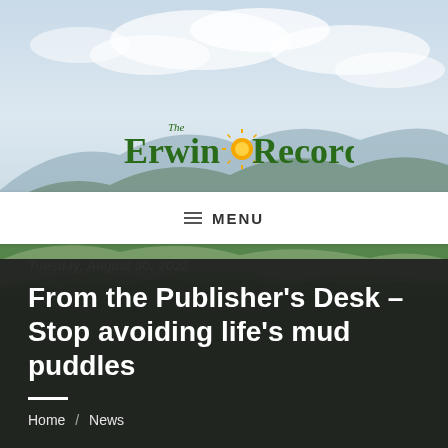[Figure (photo): Mountain landscape with green forested hills and cloudy sky background photo for The Erwin Record newspaper website header]
The Erwin Record
MENU
Tuesday, August 30, 2022
From the Publisher's Desk – Stop avoiding life's mud puddles
Home / News